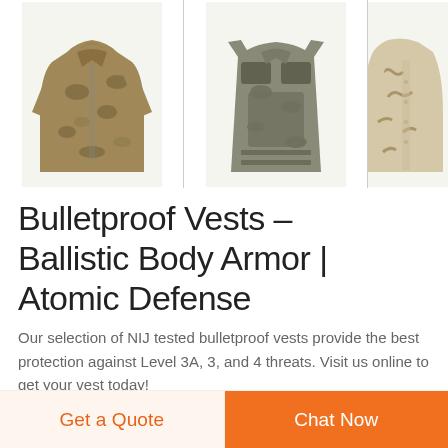[Figure (photo): Three product images showing camouflage jacket, tactical vest, and desert camo jacket/coat for bulletproof vest product listing]
Bulletproof Vests - Ballistic Body Armor | Atomic Defense
Our selection of NIJ tested bulletproof vests provide the best protection against Level 3A, 3, and 4 threats. Visit us online to get your vest today!
[Figure (logo): Three DEEKON logos with circular target design in green/red, each showing the word DEEKON in red below]
Get a Quote
Chat Now